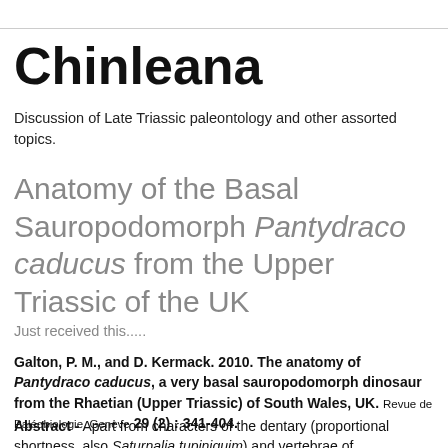Chinleana
Discussion of Late Triassic paleontology and other assorted topics.
Anatomy of the Basal Sauropodomorph Pantydraco caducus from the Upper Triassic of the UK
Just received this.....
Galton, P. M., and D. Kermack. 2010. The anatomy of Pantydraco caducus, a very basal sauropodomorph dinosaur from the Rhaetian (Upper Triassic) of South Wales, UK. Revue de Paléobiologie, Genève 29 (2) : 341-404.
Abstract - Apart from characters of the dentary (proportional shortness, also Saturnalia tupiniquim) and vertebrae of